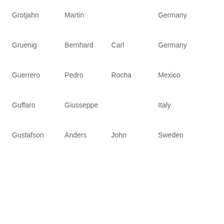| Grotjahn | Martin |  | Germany |
| Gruenig | Bernhard | Carl | Germany |
| Guerrero | Pedro | Rocha | Mexico |
| Guffaro | Giusseppe |  | Italy |
| Gustafson | Anders | John | Sweden |